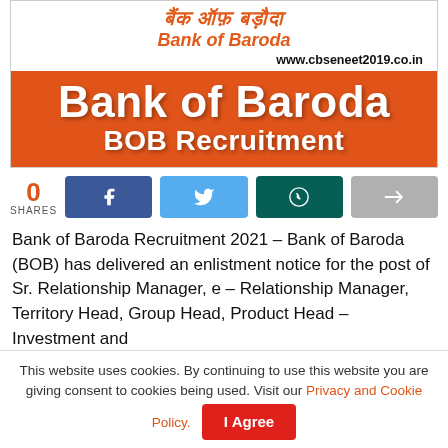[Figure (logo): Bank of Baroda logo banner with Hindi text 'बैंक ऑफ़ बड़ौदा', English text 'Bank of Baroda', website 'www.cbseneet2019.co.in', and orange rectangle with 'Bank of Baroda BOB Recruitment']
0
SHARES
Bank of Baroda Recruitment 2021 – Bank of Baroda (BOB) has delivered an enlistment notice for the post of Sr. Relationship Manager, e – Relationship Manager, Territory Head, Group Head, Product Head – Investment and
This website uses cookies. By continuing to use this website you are giving consent to cookies being used. Visit our Privacy and Cookie Policy.